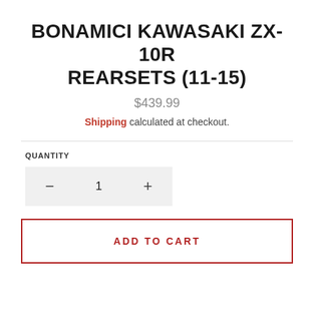BONAMICI KAWASAKI ZX-10R REARSETS (11-15)
$439.99
Shipping calculated at checkout.
QUANTITY
1
ADD TO CART